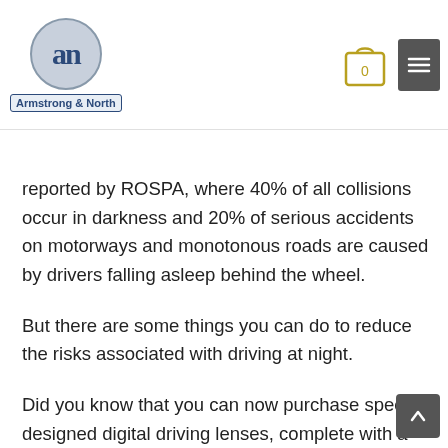Armstrong & North
This was a finding that driving in the dark is more dangerous as reported by ROSPA, where 40% of all collisions occur in darkness and 20% of serious accidents on motorways and monotonous roads are caused by drivers falling asleep behind the wheel.
But there are some things you can do to reduce the risks associated with driving at night.
Did you know that you can now purchase specially designed digital driving lenses, complete with a special honeycomb reflection free Glare filter that maximises your visual comfort when driving?
As part of our Winter Sale, we are offering £50 off our Drive Lenses to keep you safe on the road this winter and they include a Glare filter or you can upgrade to a Contrast filter for an